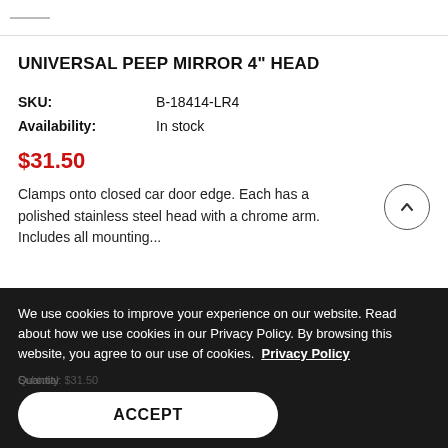UNIVERSAL PEEP MIRROR 4" HEAD
| SKU: | B-18414-LR4 |
| Availability: | In stock |
$31.50
Clamps onto closed car door edge. Each has a polished stainless steel head with a chrome arm. Includes all mounting...
We use cookies to improve your experience on our website. Read about how we use cookies in our Privacy Policy. By browsing this website, you agree to our use of cookies.  Privacy Policy
ACCEPT